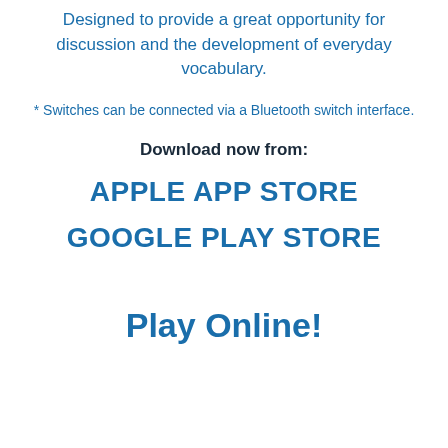Designed to provide a great opportunity for discussion and the development of everyday vocabulary.
* Switches can be connected via a Bluetooth switch interface.
Download now from:
APPLE APP STORE
GOOGLE PLAY STORE
Play Online!